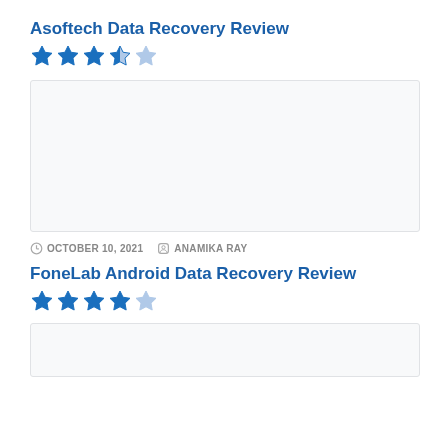Asoftech Data Recovery Review
[Figure (other): Star rating showing 3 out of 5 stars (3 filled blue, 1 half, 1 empty) for Asoftech Data Recovery Review]
[Figure (photo): Screenshot or image placeholder for Asoftech Data Recovery article]
OCTOBER 10, 2021  ANAMIKA RAY
FoneLab Android Data Recovery Review
[Figure (other): Star rating showing 4 out of 5 stars (4 filled blue, 1 empty) for FoneLab Android Data Recovery Review]
[Figure (photo): Screenshot or image placeholder for FoneLab Android Data Recovery article]